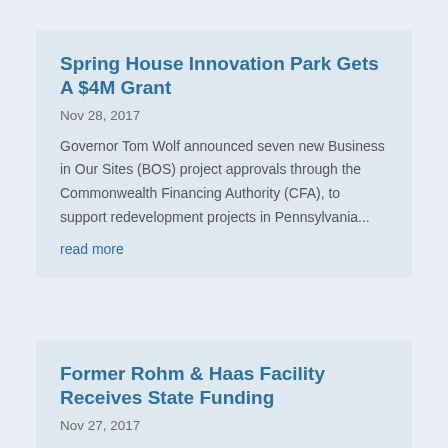Spring House Innovation Park Gets A $4M Grant
Nov 28, 2017
Governor Tom Wolf announced seven new Business in Our Sites (BOS) project approvals through the Commonwealth Financing Authority (CFA), to support redevelopment projects in Pennsylvania...
read more
Former Rohm & Haas Facility Receives State Funding
Nov 27, 2017